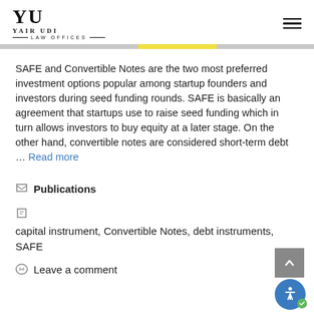YU | Yair Udi Law Offices
SAFE and Convertible Notes are the two most preferred investment options popular among startup founders and investors during seed funding rounds. SAFE is basically an agreement that startups use to raise seed funding which in turn allows investors to buy equity at a later stage. On the other hand, convertible notes are considered short-term debt … Read more
Publications
capital instrument, Convertible Notes, debt instruments, SAFE
Leave a comment